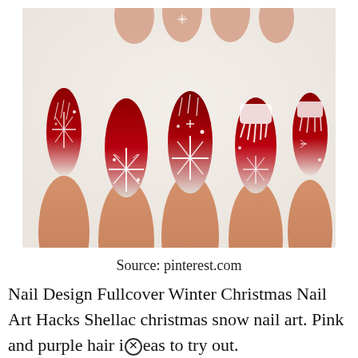[Figure (photo): Close-up photo of hands with Christmas nail art on almond-shaped nails. Nails feature red glitter with white snowflake designs and ombre effect transitioning from red to silver/white glitter at the tips. Displayed against a white fluffy background.]
Source: pinterest.com
Nail Design Fullcover Winter Christmas Nail Art Hacks Shellac christmas snow nail art. Pink and purple hair ideas to try out.